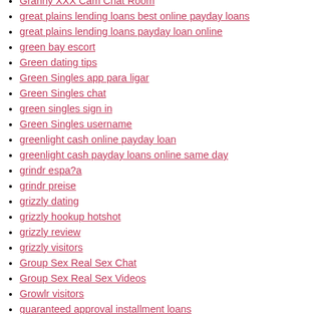Granny XXX Cam Chat Room
great plains lending loans best online payday loans
great plains lending loans payday loan online
green bay escort
Green dating tips
Green Singles app para ligar
Green Singles chat
green singles sign in
Green Singles username
greenlight cash online payday loan
greenlight cash payday loans online same day
grindr espa?a
grindr preise
grizzly dating
grizzly hookup hotshot
grizzly review
grizzly visitors
Group Sex Real Sex Chat
Group Sex Real Sex Videos
Growlr visitors
guaranteed approval installment loans
guyspy como funciona
guyspy it review
habbo it review
habbo reviews